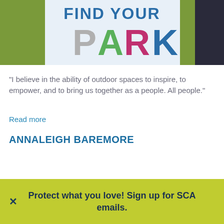[Figure (photo): Photo showing a 'Find Your Park' sign on green grass with a person partially visible on the right side]
“I believe in the ability of outdoor spaces to inspire, to empower, and to bring us together as a people. All people.”
Read more
ANNALEIGH BAREMORE
Protect what you love! Sign up for SCA emails.